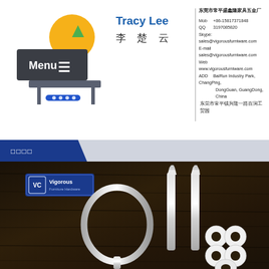[Figure (illustration): Business card showing furniture/menu icon illustration on left side with table/hamburger menu graphic in gray tones]
Tracy Lee
李 楚 云
东莞市常平盛鑫隆家具五金厂
Mob  +86-15817371848
QQ   3197085820
Skype: sales@vigorousfurniware.com
E-mail  sales@vigorousfurniware.com
Web   www.vigorousfurniware.com
ADD  BaiRun Industry Park, ChangPing, DongGuan, GuangDong, China
东莞市常平镇兴隆一路百润工贸园
□□□□
[Figure (photo): Photo of chrome/silver furniture hardware items including circular ring handle, decorative bolt/screw legs, and white rubber washers on dark wood surface. Vigorous Furniture Hardware logo visible in top left.]